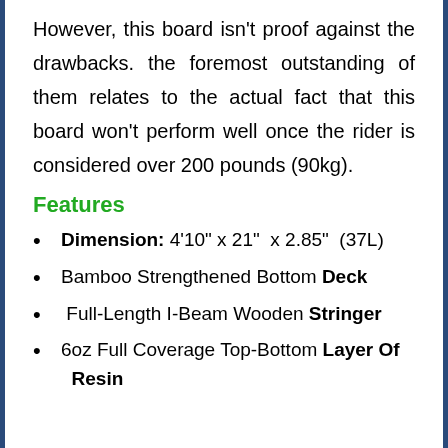However, this board isn't proof against the drawbacks. the foremost outstanding of them relates to the actual fact that this board won't perform well once the rider is considered over 200 pounds (90kg).
Features
Dimension: 4'10" x 21"  x 2.85"  (37L)
Bamboo Strengthened Bottom Deck
Full-Length I-Beam Wooden Stringer
6oz Full Coverage Top-Bottom Layer Of Resin